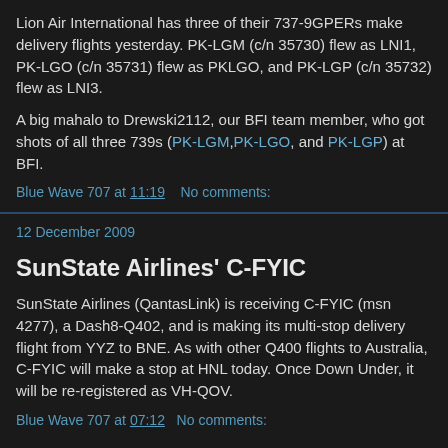Lion Air International has three of their 737-9GPERs make delivery flights yesterday. PK-LGM (c/n 35730) flew as LNI1, PK-LGO (c/n 35731) flew as PKLGO, and PK-LGP (c/n 35732) flew as LNI3.
A big mahalo to Drewski2112, our BFI team member, who got shots of all three 739s (PK-LGM, PK-LGO, and PK-LGP) at BFI.
Blue Wave 707 at 11:19   No comments:
12 December 2009
SunState Airlines' C-FYIC
SunState Airlines (QantasLink) is receiving C-FYIC (msn 4277), a Dash8-Q402, and is making its multi-stop delivery flight from YYZ to BNE. As with other Q400 flights to Australia, C-FYIC will make a stop at HNL today. Once Down Under, it will be re-registered as VH-QOV.
Blue Wave 707 at 07:12   No comments: